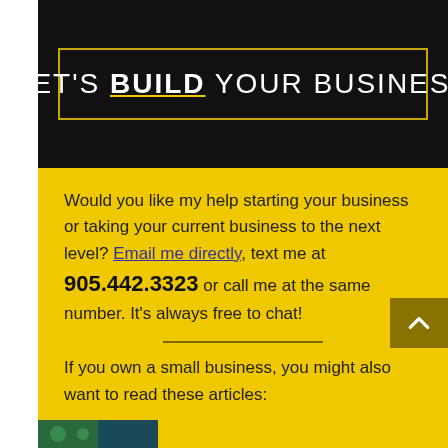LET'S BUILD YOUR BUSINESS
Would you like my help starting your business or taking your current business to the next level? Email me directly, text me at 905.442.3323 or call me at the same number. It's always free to chat!
If you own a small business, you might also want to read these articles: